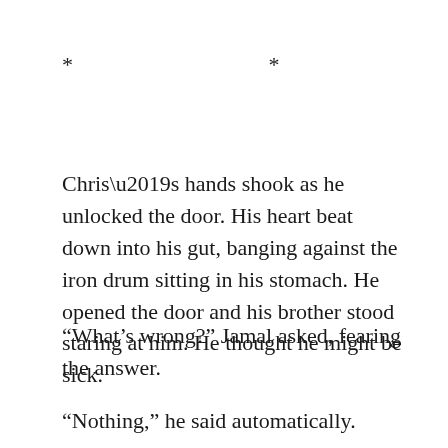* * *
Chris’s hands shook as he unlocked the door. His heart beat down into his gut, banging against the iron drum sitting in his stomach. He opened the door and his brother stood staring at him. He thought he might be sick.
“What’s wrong?” Jamal asked, fearing the answer.
“Nothing,” he said automatically.